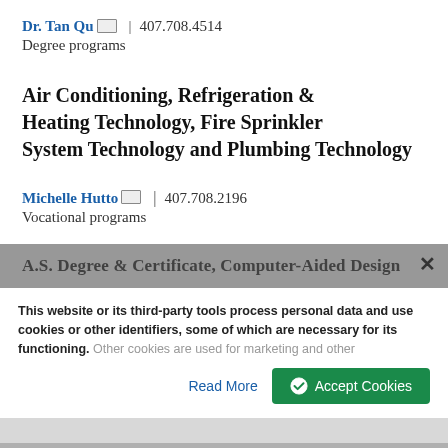Dr. Tan Qu  |  407.708.4514
Degree programs
Air Conditioning, Refrigeration & Heating Technology, Fire Sprinkler System Technology and Plumbing Technology
Michelle Hutto  |  407.708.2196
Vocational programs
A.S. Degree & Certificate, Computer-Aided Design
This website or its third-party tools process personal data and use cookies or other identifiers, some of which are necessary for its functioning. Other cookies are used for marketing and other
Read More
Accept Cookies